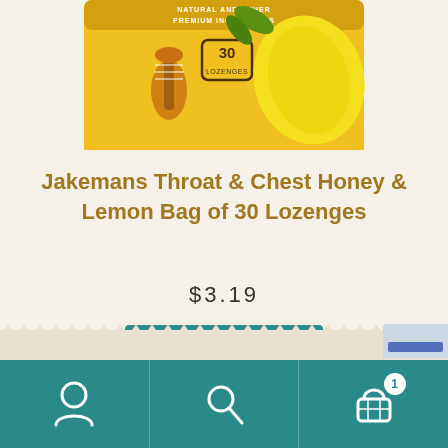[Figure (photo): Product image: Jakemans Throat & Chest Honey & Lemon bag of 30 lozenges, yellow packaging with honey dipper and lemon, labeled 'Natural and Other Premium Ingredients', '30 Lozenges']
Jakemans Throat & Chest Honey & Lemon Bag of 30 Lozenges
$3.19
Add to cart
[Figure (screenshot): E-commerce app bottom navigation bar with teal background showing user/account icon, search icon, and shopping cart icon with badge showing '1']